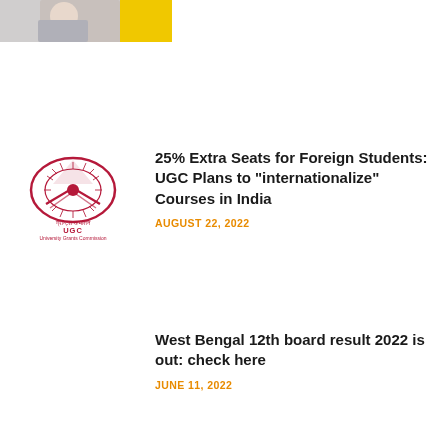[Figure (photo): Partial photo of a student holding a laptop with yellow background, cropped at top of page]
[Figure (logo): UGC (University Grants Commission) official logo with Ashoka Chakra emblem, red/maroon color, with Hindi and English text]
25% Extra Seats for Foreign Students: UGC Plans to “internationalize” Courses in India
AUGUST 22, 2022
West Bengal 12th board result 2022 is out: check here
JUNE 11, 2022